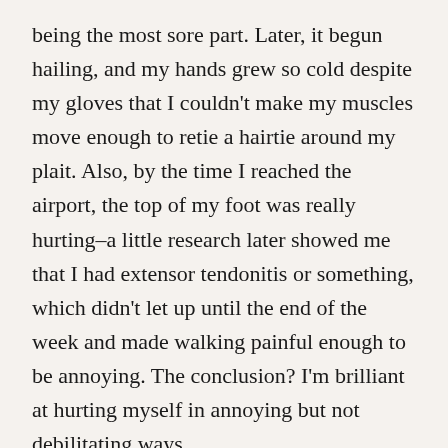being the most sore part. Later, it begun hailing, and my hands grew so cold despite my gloves that I couldn't make my muscles move enough to retie a hairtie around my plait. Also, by the time I reached the airport, the top of my foot was really hurting–a little research later showed me that I had extensor tendonitis or something, which didn't let up until the end of the week and made walking painful enough to be annoying. The conclusion? I'm brilliant at hurting myself in annoying but not debilitating ways.
Update: My favourite photo, it turns out, is of a mural that's part of the Giant Storybook Project, and this is a sentence that is cut off at the bottom.